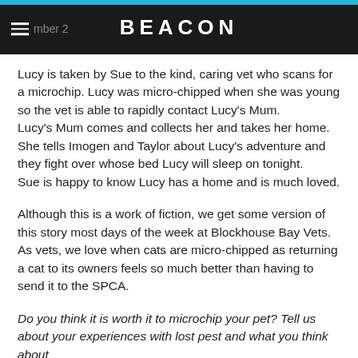Number 2 | BEACON
Lucy is taken by Sue to the kind, caring vet who scans for a microchip. Lucy was micro-chipped when she was young so the vet is able to rapidly contact Lucy's Mum.
Lucy's Mum comes and collects her and takes her home. She tells Imogen and Taylor about Lucy's adventure and they fight over whose bed Lucy will sleep on tonight.
Sue is happy to know Lucy has a home and is much loved.
Although this is a work of fiction, we get some version of this story most days of the week at Blockhouse Bay Vets. As vets, we love when cats are micro-chipped as returning a cat to its owners feels so much better than having to send it to the SPCA.
Do you think it is worth it to microchip your pet? Tell us about your experiences with lost pest and what you think about